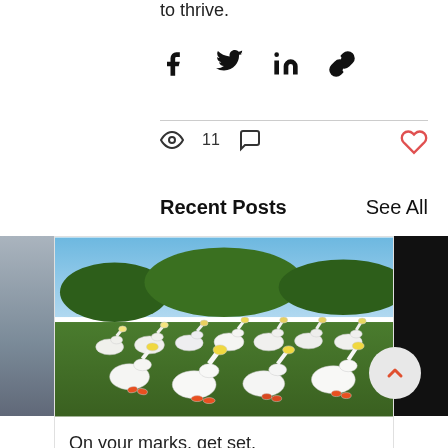to thrive.
[Figure (infographic): Social share icons: Facebook, Twitter, LinkedIn, link/chain icon]
11 (views and comment icons, heart/like icon)
Recent Posts
See All
[Figure (photo): A large flock of white geese on a green grass field with trees in background. Partial boat/dock image on the left, partial dark image on the right.]
On your marks, get set, GOose!